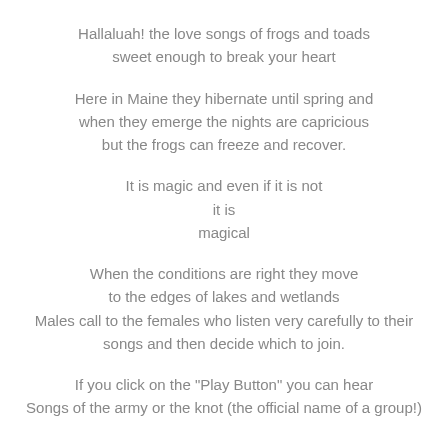Hallaluah! the love songs of frogs and toads
sweet enough to break your heart
Here in Maine they hibernate until spring and
when they emerge the nights are capricious
but the frogs can freeze and recover.
It is magic and even if it is not
it is
magical
When the conditions are right they move
to the edges of lakes and wetlands
Males call to the females who listen very carefully to their
songs and then decide which to join.
If you click on the "Play Button" you can hear
Songs of the army or the knot (the official name of a group!)